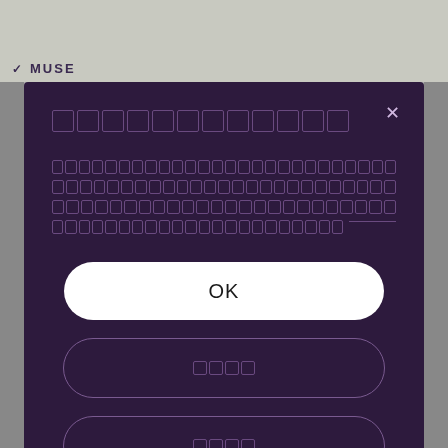[Figure (screenshot): Top portion of a mobile app showing a product image area with a MUSE brand header label at the bottom of the image section]
□□□□□□□□□□□□
□□□□□□□□□□□□□□□□□□□□□□□□□□□□□□□□□□□□□□□□□□□□□□□□□□□□□□□□□□□□□□□□□□□□□□□□□□□□□□□□□□□□□□□□□□□□□□□□□□□□□□□□□□□□□□□□□□□□□□□□□□□□□□□□□□□□□□□□□□□□□□□□□□□□□□□□□□□□□□□□□□□□□□□□□□□□□□□□□□□□□□□□□□□□□□□□□□□□□□□□□
OK
□□□□
□□□□